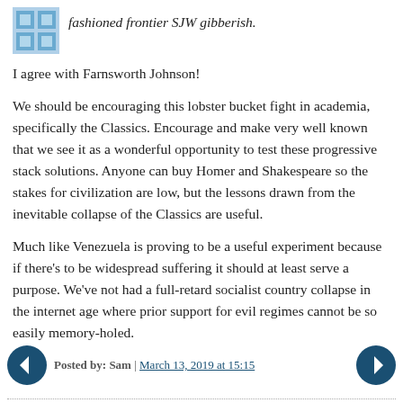fashioned frontier SJW gibberish.
I agree with Farnsworth Johnson!
We should be encouraging this lobster bucket fight in academia, specifically the Classics. Encourage and make very well known that we see it as a wonderful opportunity to test these progressive stack solutions. Anyone can buy Homer and Shakespeare so the stakes for civilization are low, but the lessons drawn from the inevitable collapse of the Classics are useful.
Much like Venezuela is proving to be a useful experiment because if there's to be widespread suffering it should at least serve a purpose. We've not had a full-retard socialist country collapse in the internet age where prior support for evil regimes cannot be so easily memory-holed.
Posted by: Sam | March 13, 2019 at 15:15